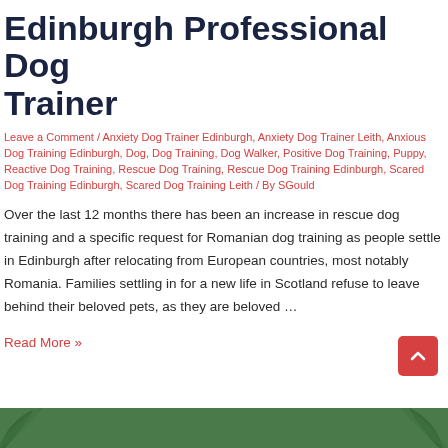Edinburgh Professional Dog Trainer
Leave a Comment / Anxiety Dog Trainer Edinburgh, Anxiety Dog Trainer Leith, Anxious Dog Training Edinburgh, Dog, Dog Training, Dog Walker, Positive Dog Training, Puppy, Reactive Dog Training, Rescue Dog Training, Rescue Dog Training Edinburgh, Scared Dog Training Edinburgh, Scared Dog Training Leith / By SGould
Over the last 12 months there has been an increase in rescue dog training and a specific request for Romanian dog training as people settle in Edinburgh after relocating from European countries, most notably Romania. Families settling in for a new life in Scotland refuse to leave behind their beloved pets, as they are beloved …
Read More »